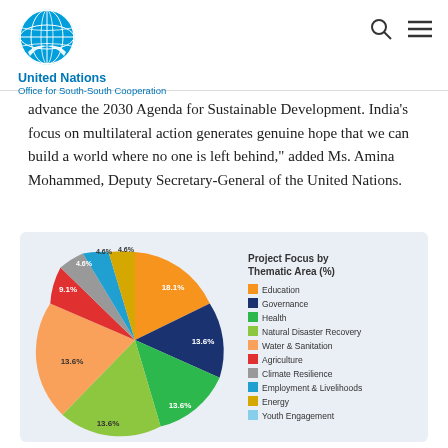United Nations Office for South-South Cooperation
advance the 2030 Agenda for Sustainable Development. India's focus on multilateral action generates genuine hope that we can build a world where no one is left behind," added Ms. Amina Mohammed, Deputy Secretary-General of the United Nations.
[Figure (pie-chart): Project Focus by Thematic Area (%)]